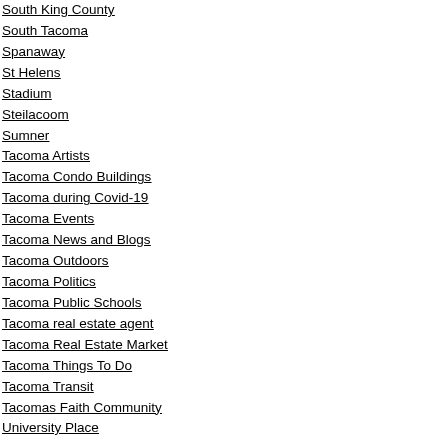South King County
South Tacoma
Spanaway
St Helens
Stadium
Steilacoom
Sumner
Tacoma Artists
Tacoma Condo Buildings
Tacoma during Covid-19
Tacoma Events
Tacoma News and Blogs
Tacoma Outdoors
Tacoma Politics
Tacoma Public Schools
Tacoma real estate agent
Tacoma Real Estate Market
Tacoma Things To Do
Tacoma Transit
Tacomas Faith Community
University Place